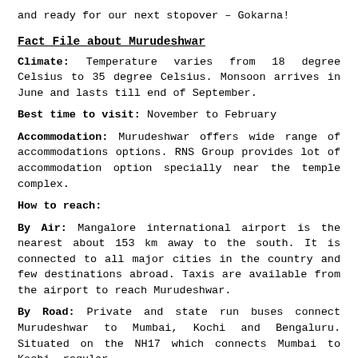and ready for our next stopover – Gokarna!
Fact File about Murudeshwar
Climate: Temperature varies from 18 degree Celsius to 35 degree Celsius. Monsoon arrives in June and lasts till end of September.
Best time to visit: November to February
Accommodation: Murudeshwar offers wide range of accommodations options. RNS Group provides lot of accommodation option specially near the temple complex.
How to reach:
By Air: Mangalore international airport is the nearest about 153 km away to the south. It is connected to all major cities in the country and few destinations abroad. Taxis are available from the airport to reach Murudeshwar.
By Road: Private and state run buses connect Murudeshwar to Mumbai, Kochi and Bengaluru. Situated on the NH17 which connects Mumbai to Kochi, regular